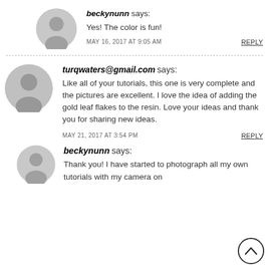beckynunn says:
Yes! The color is fun!
MAY 16, 2017 AT 9:05 AM   REPLY
turqwaters@gmail.com says:
Like all of your tutorials, this one is very complete and the pictures are excellent. I love the idea of adding the gold leaf flakes to the resin. Love your ideas and thank you for sharing new ideas.
MAY 21, 2017 AT 3:54 PM   REPLY
beckynunn says:
Thank you! I have started to photograph all my own tutorials with my camera on